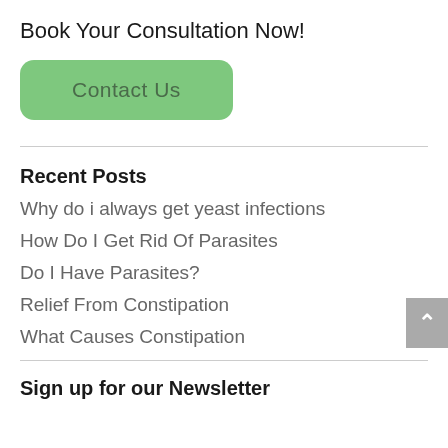Book Your Consultation Now!
[Figure (other): Green rounded button labeled 'Contact Us']
Recent Posts
Why do i always get yeast infections
How Do I Get Rid Of Parasites
Do I Have Parasites?
Relief From Constipation
What Causes Constipation
Sign up for our Newsletter